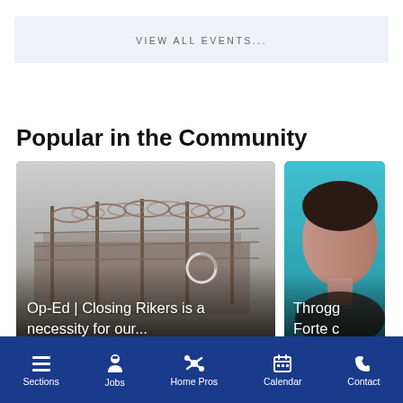VIEW ALL EVENTS...
Popular in the Community
[Figure (photo): Card 1: Prison/jail fence with razor wire, foggy background. Overlay text: Op-Ed | Closing Rikers is a necessity for our...]
[Figure (photo): Card 2 (partial): Person's face on teal/blue background. Overlay text: Throgg... Forte c...]
Sections  Jobs  Home Pros  Calendar  Contact